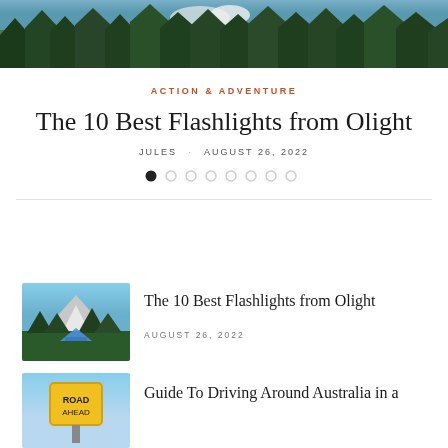[Figure (photo): Aerial/scenic view of dense evergreen forest with mountains and snow in background]
ACTION & ADVENTURE
The 10 Best Flashlights from Olight
JULES  AUGUST 26, 2022
[Figure (other): Carousel pagination dots, first dot active]
[Figure (photo): Mountain landscape with tent and trees]
The 10 Best Flashlights from Olight
AUGUST 26, 2022
[Figure (photo): Yellow road sign against blue sky]
Guide To Driving Around Australia in a